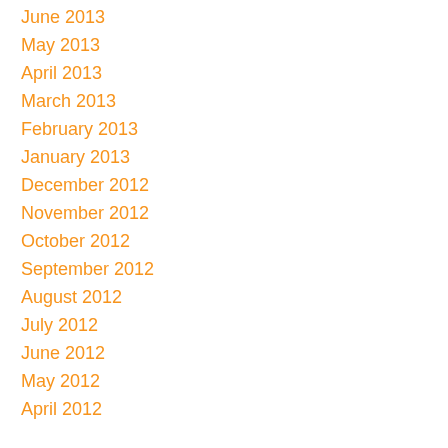June 2013
May 2013
April 2013
March 2013
February 2013
January 2013
December 2012
November 2012
October 2012
September 2012
August 2012
July 2012
June 2012
May 2012
April 2012